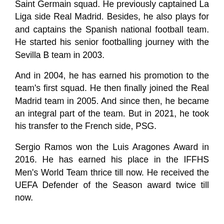Saint Germain squad. He previously captained La Liga side Real Madrid. Besides, he also plays for and captains the Spanish national football team. He started his senior footballing journey with the Sevilla B team in 2003.
And in 2004, he has earned his promotion to the team's first squad. He then finally joined the Real Madrid team in 2005. And since then, he became an integral part of the team. But in 2021, he took his transfer to the French side, PSG.
Sergio Ramos won the Luis Aragones Award in 2016. He has earned his place in the IFFHS Men's World Team thrice till now. He received the UEFA Defender of the Season award twice till now.